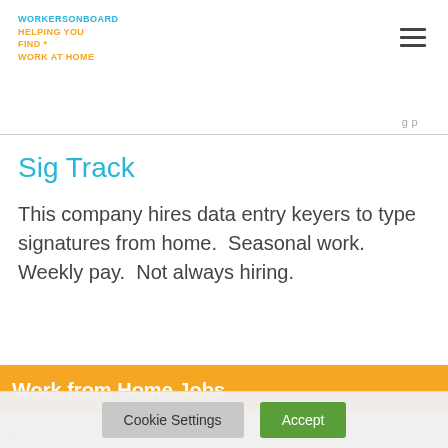WORKERSONBOARD HELPING YOU FIND * WORK AT HOME
Sig Track
This company hires data entry keyers to type signatures from home.  Seasonal work. Weekly pay.  Not always hiring.
[Figure (screenshot): Orange popup overlay with title 'Work from Home Jobs', an email input field, a blue send button with envelope icon, close (x) button, and privacy note 'your information with anyone']
Cookie Settings  Accept